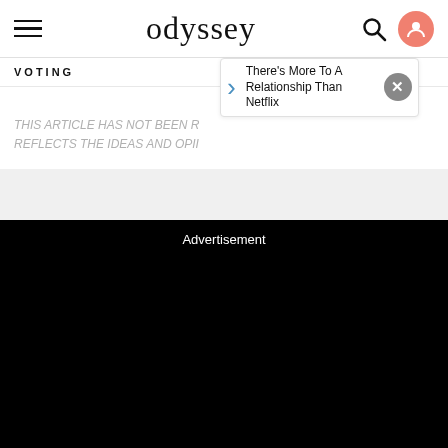odyssey
VOTING
There's More To A Relationship Than Netflix
THIS ARTICLE HAS NOT BEEN R REFLECTS THE IDEAS AND OPII
Advertisement